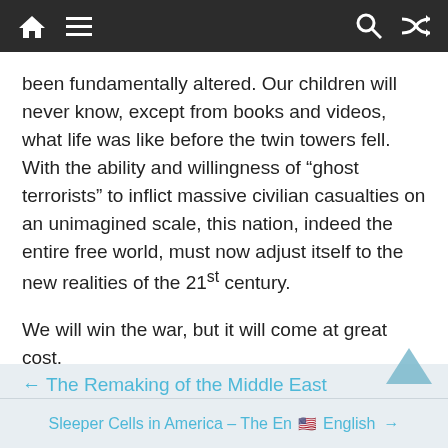Navigation bar with home, menu, search, and shuffle icons
been fundamentally altered. Our children will never know, except from books and videos, what life was like before the twin towers fell. With the ability and willingness of “ghost terrorists” to inflict massive civilian casualties on an unimagined scale, this nation, indeed the entire free world, must now adjust itself to the new realities of the 21st century.
We will win the war, but it will come at great cost.
← The Remaking of the Middle East
Sleeper Cells in America – The Enemy Within → English 🇺🇸